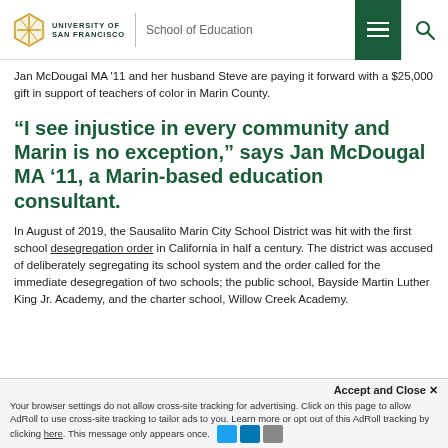University of San Francisco | School of Education
Jan McDougal MA '11 and her husband Steve are paying it forward with a $25,000 gift in support of teachers of color in Marin County.
“I see injustice in every community and Marin is no exception,” says Jan McDougal MA ‘11, a Marin-based education consultant.
In August of 2019, the Sausalito Marin City School District was hit with the first school desegregation order in California in half a century. The district was accused of deliberately segregating its school system and the order called for the immediate desegregation of two schools; the public school, Bayside Martin Luther King Jr. Academy, and the charter school, Willow Creek Academy.
Accept and Close × Your browser settings do not allow cross-site tracking for advertising. Click on this page to allow AdRoll to use cross-site tracking to tailor ads to you. Learn more or opt out of this AdRoll tracking by clicking here. This message only appears once.